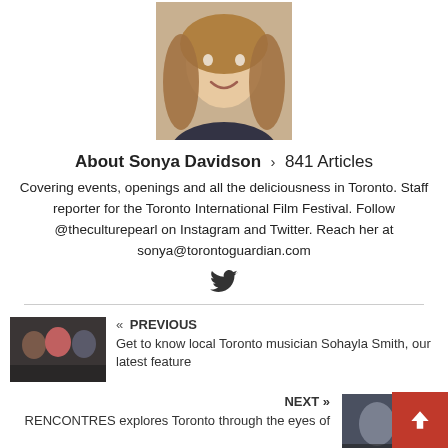[Figure (photo): Headshot photo of Sonya Davidson, a young woman with long brown hair, smiling]
About Sonya Davidson  >  841 Articles
Covering events, openings and all the deliciousness in Toronto. Staff reporter for the Toronto International Film Festival. Follow @theculturepearl on Instagram and Twitter. Reach her at sonya@torontoguardian.com
[Figure (logo): Twitter bird icon]
[Figure (photo): Thumbnail image of three musicians for the Sohayla Smith article]
« PREVIOUS
Get to know local Toronto musician Sohayla Smith, our latest feature
NEXT »
RENCONTRES explores Toronto through the eyes of
[Figure (photo): Thumbnail image for RENCONTRES article]